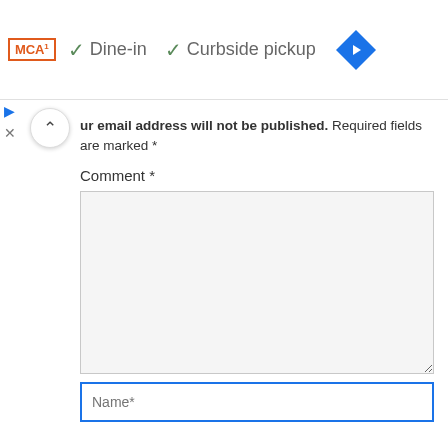[Figure (screenshot): Top bar with MCA logo, checkmarks for Dine-in and Curbside pickup, and a blue navigation diamond icon]
Your email address will not be published. Required fields are marked *
Comment *
[Figure (screenshot): Comment text area input box, empty, light gray background]
Name*